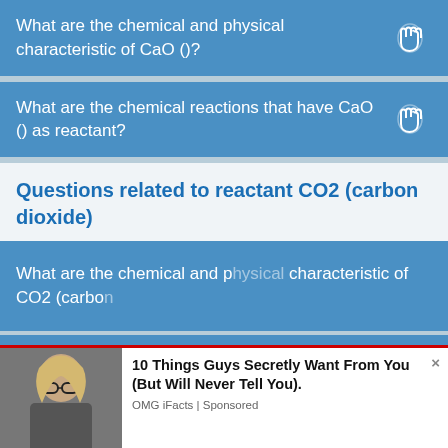What are the chemical and physical characteristic of CaO ()?
What are the chemical reactions that have CaO () as reactant?
Questions related to reactant CO2 (carbon dioxide)
What are the chemical and physical characteristic of CO2 (carbon
What are the chemical reactions that have
[Figure (screenshot): Advertising overlay with Ureka Media logo and video player controls showing 'Xem Them' button. Has X close button and ADVERTISING label.]
10 Things Guys Secretly Want From You (But Will Never Tell You).
OMG iFacts | Sponsored